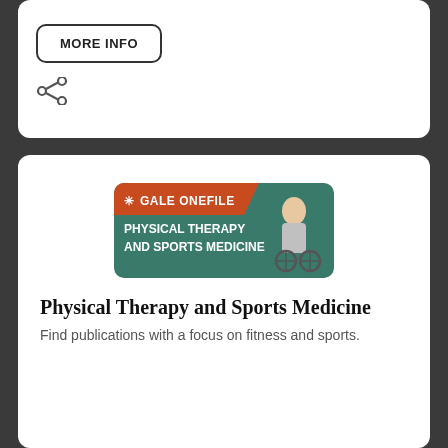MORE INFO
[Figure (illustration): Share icon (less-than style share symbol)]
[Figure (logo): Gale OneFile: Physical Therapy and Sports Medicine banner logo with orange and teal background and photo of person in wheelchair]
Physical Therapy and Sports Medicine
Find publications with a focus on fitness and sports.